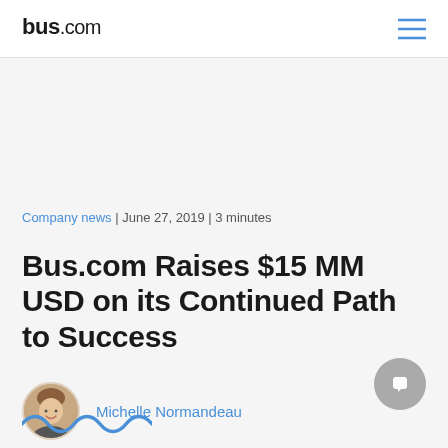bus.com
Company news | June 27, 2019 | 3 minutes
Bus.com Raises $15 MM USD on its Continued Path to Success
Michelle Normandeau
[Figure (illustration): Blue wavy decorative line at the bottom of the page]